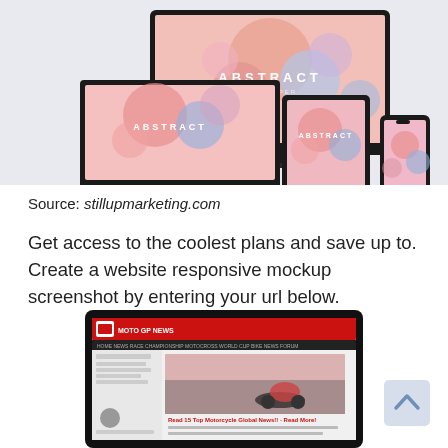[Figure (illustration): Responsive website mockup showing abstract design with pink/blue gradient spheres displayed on a desktop monitor, laptop, tablet, and smartphone against a light blue-grey background with text 'ABSTRACT']
Source: stillupmarketing.com
Get access to the coolest plans and save up to. Create a website responsive mockup screenshot by entering your url below.
[Figure (screenshot): Tablet mockup showing a MotoGP news website with red header, navigation bar, and motorcycle racing photo]